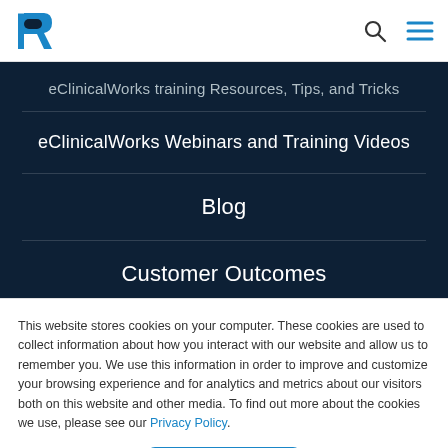eClinicalWorks - logo and navigation icons
eClinicalWorks training Resources, Tips, and Tricks
eClinicalWorks Webinars and Training Videos
Blog
Customer Outcomes
This website stores cookies on your computer. These cookies are used to collect information about how you interact with our website and allow us to remember you. We use this information in order to improve and customize your browsing experience and for analytics and metrics about our visitors both on this website and other media. To find out more about the cookies we use, please see our Privacy Policy.
Accept